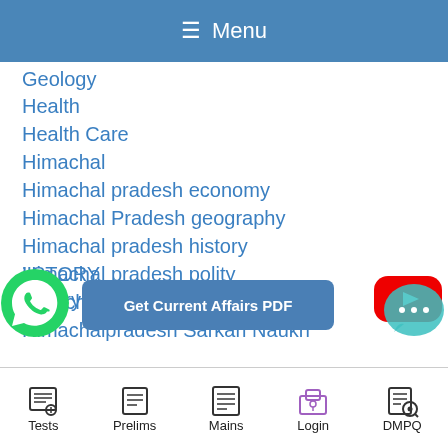Menu
Geology
Health
Health Care
Himachal
Himachal pradesh economy
Himachal Pradesh geography
Himachal pradesh history
Himachal pradesh polity
himachalpradesh
Himachalpradesh Sarkari Naukri
HISTORY
history
[Figure (screenshot): YouTube play button icon (red rounded rectangle with white triangle)]
Get Current Affairs PDF
[Figure (logo): WhatsApp green phone icon]
[Figure (illustration): Teal chat bubble with ellipsis]
Tests  Prelims  Mains  Login  DMPQ